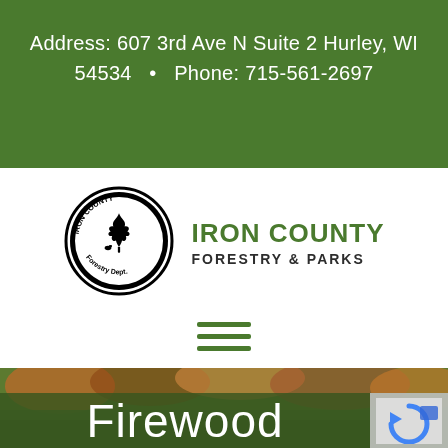Address: 607 3rd Ave N Suite 2 Hurley, WI 54534  •  Phone: 715-561-2697
[Figure (logo): Iron County Forestry Dept circular seal logo with leaf graphic, and text IRON COUNTY FORESTRY & PARKS]
[Figure (illustration): Hamburger menu icon — three horizontal green lines]
[Figure (photo): Aerial forest photo showing autumn foliage with green grass in foreground]
Firewood